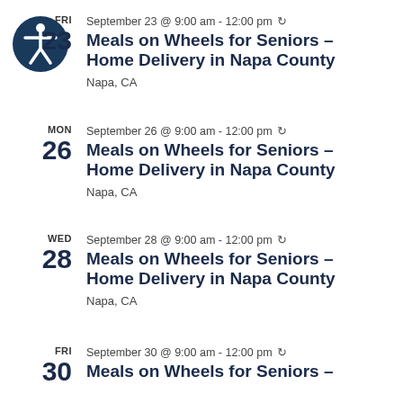[Figure (logo): Accessibility icon: white figure with arms outstretched in a circle, on a dark blue background]
FRI 23 September 23 @ 9:00 am - 12:00 pm (recurring) Meals on Wheels for Seniors – Home Delivery in Napa County Napa, CA
MON 26 September 26 @ 9:00 am - 12:00 pm (recurring) Meals on Wheels for Seniors – Home Delivery in Napa County Napa, CA
WED 28 September 28 @ 9:00 am - 12:00 pm (recurring) Meals on Wheels for Seniors – Home Delivery in Napa County Napa, CA
FRI 30 September 30 @ 9:00 am - 12:00 pm (recurring) Meals on Wheels for Seniors –